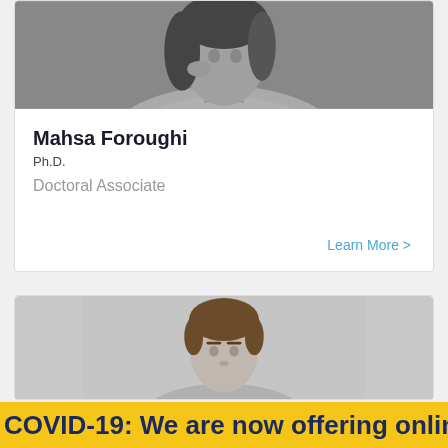[Figure (photo): Black and white photo of a woman with dark wavy hair, wearing a light textured jacket, hand near face]
Mahsa Foroughi
Ph.D.
Doctoral Associate
Learn More >
[Figure (photo): Color photo of a young man with short brown hair against a light gray background, head and shoulders visible]
COVID-19: We are now offering online the